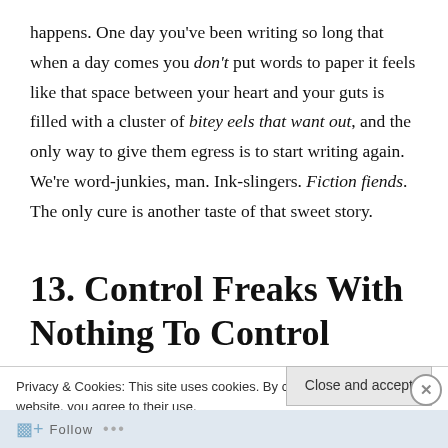happens. One day you've been writing so long that when a day comes you don't put words to paper it feels like that space between your heart and your guts is filled with a cluster of bitey eels that want out, and the only way to give them egress is to start writing again. We're word-junkies, man. Ink-slingers. Fiction fiends. The only cure is another taste of that sweet story.
13. Control Freaks With Nothing To Control
Privacy & Cookies: This site uses cookies. By continuing to use this website, you agree to their use.
To find out more, including how to control cookies, see here: Cookie Policy